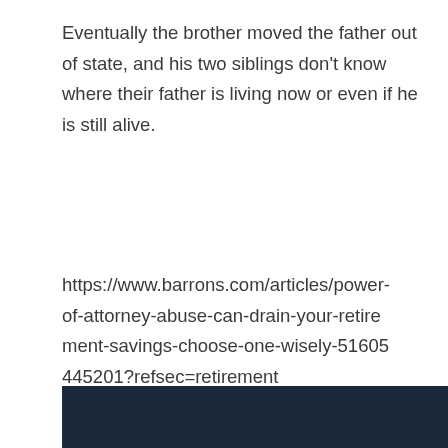Eventually the brother moved the father out of state, and his two siblings don't know where their father is living now or even if he is still alive.
https://www.barrons.com/articles/power-of-attorney-abuse-can-drain-your-retirement-savings-choose-one-wisely-51605445201?refsec=retirement